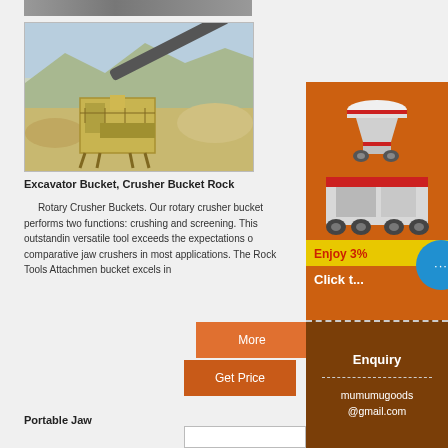[Figure (photo): Partial top edge of a quarry machine photo (cropped at top of page)]
[Figure (photo): Outdoor quarry site with a large yellow/tan crushing machine and a conveyor belt, with piles of crushed stone and mountains in the background]
Excavator Bucket, Crusher Bucket Rock
Rotary Crusher Buckets. Our rotary crusher bucket performs two functions: crushing and screening. This outstanding versatile tool exceeds the expectations of comparative jaw crushers in most applications. The Rock Tools Attachment bucket excels in
[Figure (photo): Orange advertisement banner showing multiple crusher/mining machines with 'Enjoy 3%' yellow bar and 'Click t...' text, plus a blue chat bubble icon]
More
Get Price
Enquiry
mumumugoods@gmail.com
Portable Jaw